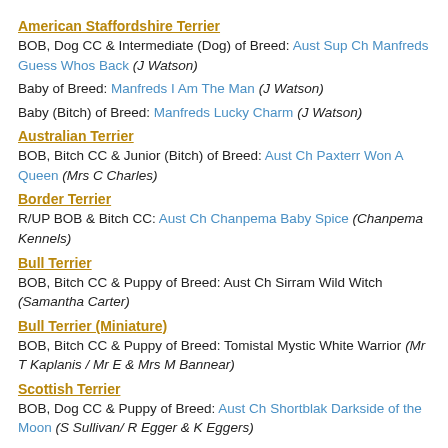American Staffordshire Terrier
BOB, Dog CC & Intermediate (Dog) of Breed: Aust Sup Ch Manfreds Guess Whos Back (J Watson)
Baby of Breed: Manfreds I Am The Man (J Watson)
Baby (Bitch) of Breed: Manfreds Lucky Charm (J Watson)
Australian Terrier
BOB, Bitch CC & Junior (Bitch) of Breed: Aust Ch Paxterr Won A Queen (Mrs C Charles)
Border Terrier
R/UP BOB & Bitch CC: Aust Ch Chanpema Baby Spice (Chanpema Kennels)
Bull Terrier
BOB, Bitch CC & Puppy of Breed: Aust Ch Sirram Wild Witch (Samantha Carter)
Bull Terrier (Miniature)
BOB, Bitch CC & Puppy of Breed: Tomistal Mystic White Warrior (Mr T Kaplanis / Mr E & Mrs M Bannear)
Scottish Terrier
BOB, Dog CC & Puppy of Breed: Aust Ch Shortblak Darkside of the Moon (S Sullivan/ R Egger & K Eggers)